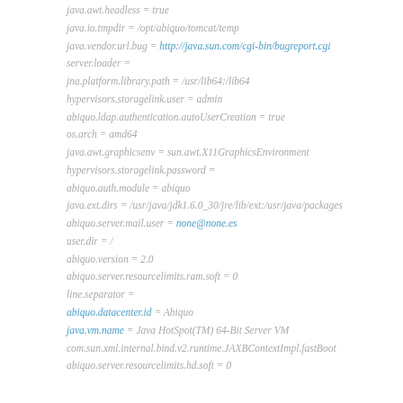java.awt.headless = true
java.io.tmpdir = /opt/abiquo/tomcat/temp
java.vendor.url.bug = http://java.sun.com/cgi-bin/bugreport.cgi
server.loader =
jna.platform.library.path = /usr/lib64:/lib64
hypervisors.storagelink.user = admin
abiquo.ldap.authentication.autoUserCreation = true
os.arch = amd64
java.awt.graphicsenv = sun.awt.X11GraphicsEnvironment
hypervisors.storagelink.password =
abiquo.auth.module = abiquo
java.ext.dirs = /usr/java/jdk1.6.0_30/jre/lib/ext:/usr/java/packages
abiquo.server.mail.user = none@none.es
user.dir = /
abiquo.version = 2.0
abiquo.server.resourcelimits.ram.soft = 0
line.separator =
abiquo.datacenter.id = Abiquo
java.vm.name = Java HotSpot(TM) 64-Bit Server VM
com.sun.xml.internal.bind.v2.runtime.JAXBContextImpl.fastBoot
abiquo.server.resourcelimits.hd.soft = 0